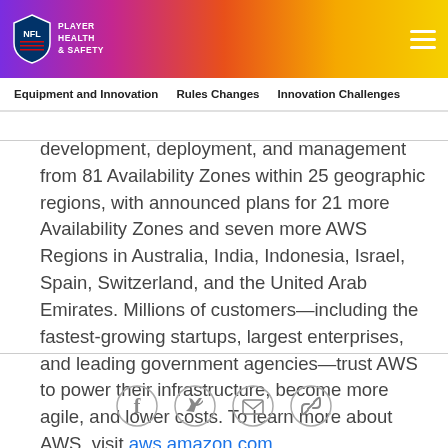NFL Player Health & Safety
Equipment and Innovation | Rules Changes | Innovation Challenges
development, deployment, and management from 81 Availability Zones within 25 geographic regions, with announced plans for 21 more Availability Zones and seven more AWS Regions in Australia, India, Indonesia, Israel, Spain, Switzerland, and the United Arab Emirates. Millions of customers—including the fastest-growing startups, largest enterprises, and leading government agencies—trust AWS to power their infrastructure, become more agile, and lower costs. To learn more about AWS, visit aws.amazon.com.
[Figure (other): Social media sharing icons: Facebook, Twitter, Email, Link]